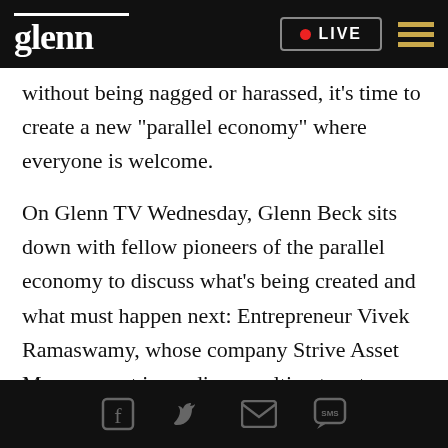glenn • LIVE
without being nagged or harassed, it's time to create a new "parallel economy" where everyone is welcome.
On Glenn TV Wednesday, Glenn Beck sits down with fellow pioneers of the parallel economy to discuss what's being created and what must happen next: Entrepreneur Vivek Ramaswamy, whose company Strive Asset Management is sending an ultimatum to woke investors like BlackRock; "The Right Stuff" co-founder Daniel Huff, who's creating a dating app without the leftist nonsense; and
Social share icons: Facebook, Twitter, Email, SMS